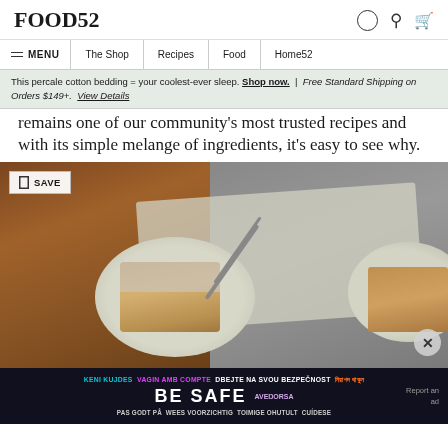FOOD52
MENU | The Shop | Recipes | Food | Home52
This percale cotton bedding = your coolest-ever sleep. Shop now. | Free Standard Shipping on Orders $149+. View Details
remains one of our community's most trusted recipes and with its simple melange of ingredients, it's easy to see why.
[Figure (photo): A slice of powdered sugar dusted cake on a pale green plate with a fork, shot from above on a linen cloth, dark moody background]
KENI KUJDES VAGIN AMB COMPTE DBEJTE NA SVOU BEZPEČNOST নিরাপদ থাকুন BE SAFE AVEŊORSA PAS GODT PÅ WEES VOORZICHTIG TOIMIGE OHUTULT CUÍDESE